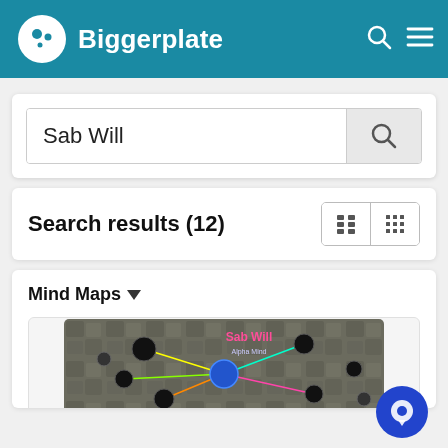Biggerplate
Sab Will
Search results (12)
Mind Maps ▾
[Figure (screenshot): A mind map thumbnail showing a colorful network diagram labeled 'Sab Will' with connecting nodes on a stone-textured background]